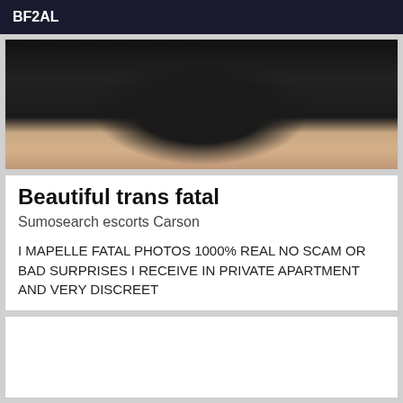BF2AL
[Figure (photo): Photo of person from waist down wearing a black leather mini skirt, standing on tiled floor against a light wall]
Beautiful trans fatal
Sumosearch escorts Carson
I MAPELLE FATAL PHOTOS 1000% REAL NO SCAM OR BAD SURPRISES I RECEIVE IN PRIVATE APARTMENT AND VERY DISCREET